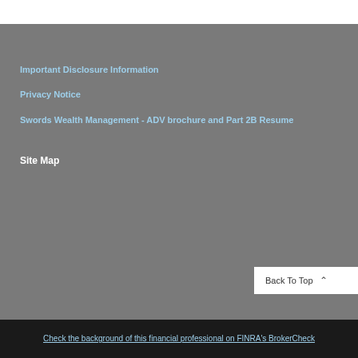Important Disclosure Information
Privacy Notice
Swords Wealth Management - ADV brochure and Part 2B Resume
Site Map
Back To Top
Check the background of this financial professional on FINRA's BrokerCheck